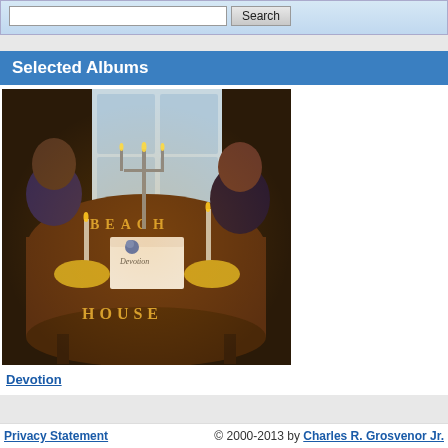[Figure (screenshot): Search bar area with text input and Search button, light blue gradient background]
Selected Albums
[Figure (photo): Photo of Beach House album 'Devotion' showing two people sitting at a candlelit table with letters spelling BEACH HOUSE and a cake with 'Devotion' written on it]
Devotion
Privacy Statement   © 2000-2013 by Charles R. Grosvenor Jr.